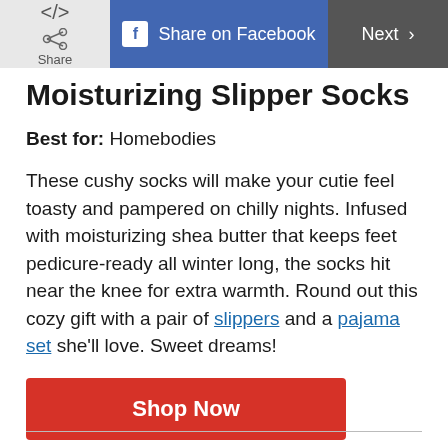Share | Share on Facebook | Next >
Moisturizing Slipper Socks
Best for: Homebodies
These cushy socks will make your cutie feel toasty and pampered on chilly nights. Infused with moisturizing shea butter that keeps feet pedicure-ready all winter long, the socks hit near the knee for extra warmth. Round out this cozy gift with a pair of slippers and a pajama set she'll love. Sweet dreams!
Shop Now